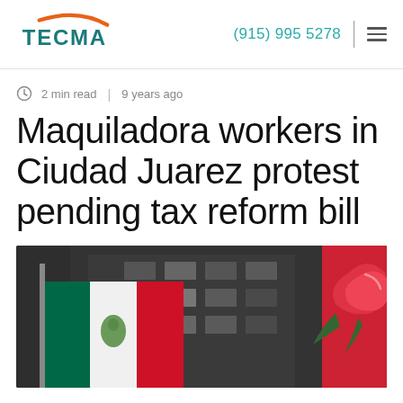TECMA | (915) 995 5278
2 min read | 9 years ago
Maquiladora workers in Ciudad Juarez protest pending tax reform bill
[Figure (photo): Protest scene with Mexican flag and a banner/sign with a rose, in front of a dark multi-story building]